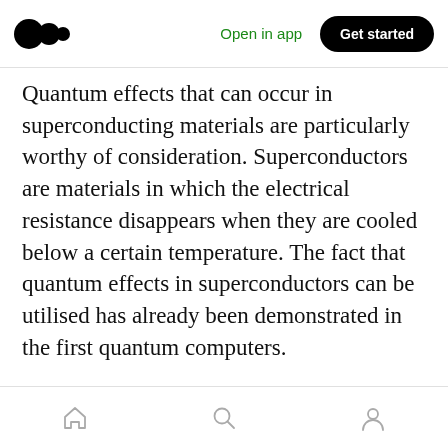Open in app | Get started
Quantum effects that can occur in superconducting materials are particularly worthy of consideration. Superconductors are materials in which the electrical resistance disappears when they are cooled below a certain temperature. The fact that quantum effects in superconductors can be utilised has already been demonstrated in the first quantum computers.
To find possible successors for today’s semiconductor electronics, some researchers — including a group at Cornell University — are
Home Search Profile